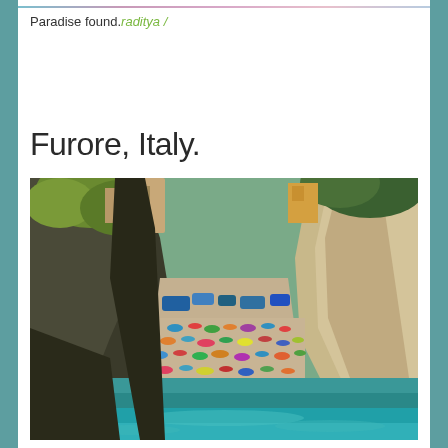[Figure (photo): Colorful gradient image strip at top of page showing pink, blue and purple tones]
Paradise found.raditya /
Furore, Italy.
[Figure (photo): Aerial view of Furore, Italy - a narrow cove beach between tall rocky cliffs with turquoise water, crowded with beachgoers and colorful umbrellas, with buildings visible at the top of the cliffs]